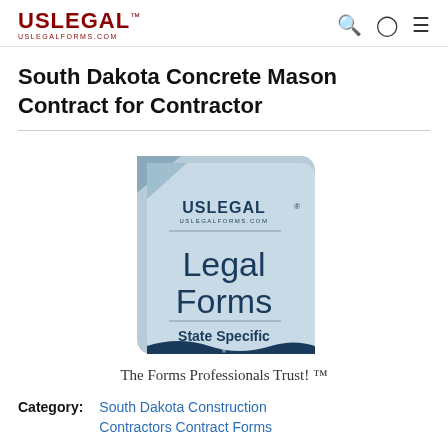USLEGAL™ uslegalforms.com
South Dakota Concrete Mason Contract for Contractor
[Figure (logo): USLegal Legal Forms State Specific document icon with eagle logo and wave graphic at bottom]
The Forms Professionals Trust! ™
Category: South Dakota Construction Contractors Contract Forms